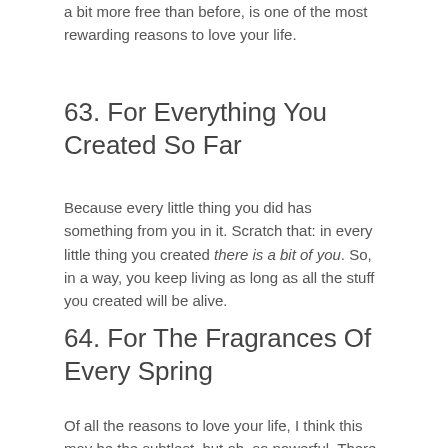a bit more free than before, is one of the most rewarding reasons to love your life.
63. For Everything You Created So Far
Because every little thing you did has something from you in it. Scratch that: in every little thing you created there is a bit of you. So, in a way, you keep living as long as all the stuff you created will be alive.
64. For The Fragrances Of Every Spring
Of all the reasons to love your life, I think this may be the subtlest, but oh, so powerful. There is this